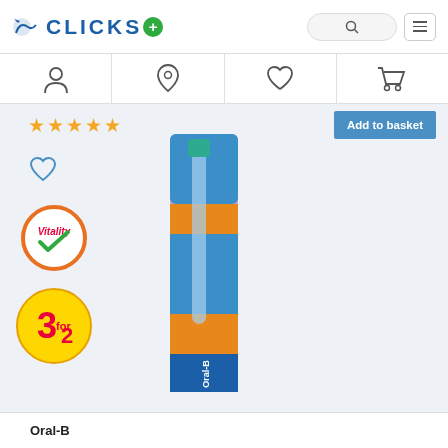CLICKS
[Figure (screenshot): Navigation icons row: account/person icon, location pin icon, heart/wishlist icon, shopping cart icon]
[Figure (infographic): 5 gold star rating icons]
Add to basket
[Figure (infographic): Heart/wishlist outline icon]
[Figure (logo): Vitality logo badge - circular orange border with 'Vitality' text and checkmark]
[Figure (infographic): 3 for 2 promotional badge - yellow circle with red text '3 for 2']
[Figure (photo): Oral-B toothbrush product in blue and orange retail packaging]
Oral-B